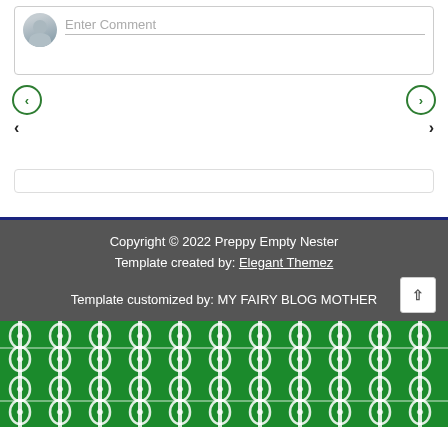[Figure (screenshot): Comment input box with avatar placeholder and 'Enter Comment' placeholder text]
[Figure (screenshot): Navigation arrows: left circle arrow and right circle arrow, with plain text arrows below]
[Figure (screenshot): Search/input bar (empty)]
Copyright © 2022 Preppy Empty Nester
Template created by: Elegant Themez

Template customized by: MY FAIRY BLOG MOTHER
[Figure (illustration): Green decorative trellis/lattice pattern at bottom of page]